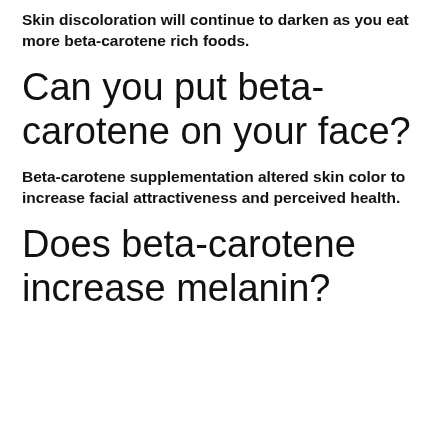Skin discoloration will continue to darken as you eat more beta-carotene rich foods.
Can you put beta-carotene on your face?
Beta-carotene supplementation altered skin color to increase facial attractiveness and perceived health.
Does beta-carotene increase melanin?